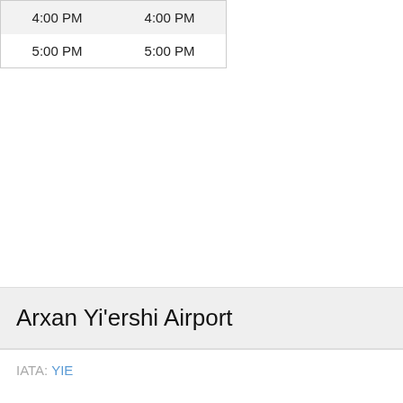| 4:00 PM | 4:00 PM |
| 5:00 PM | 5:00 PM |
Arxan Yi'ershi Airport
IATA: YIE